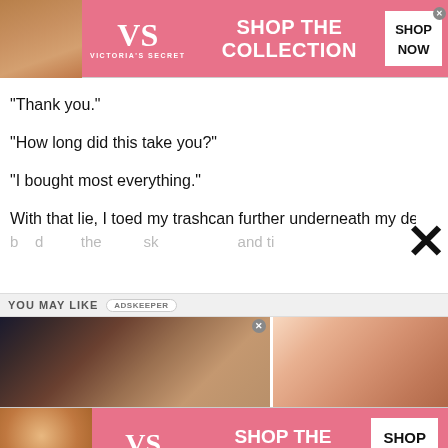[Figure (infographic): Victoria's Secret top advertisement banner with pink background, model photo on left, VS logo, 'SHOP THE COLLECTION' text, and 'SHOP NOW' button]
“Thank you.”
“How long did this take you?”
“I bought most everything.”
With that lie, I toed my trashcan further underneath my de…
YOU MAY LIKE
[Figure (photo): Two recommendation images side by side: left shows a couple, right shows a blurred pink/peach shape]
[Figure (infographic): Victoria's Secret bottom advertisement banner with pink background, model photo on left, VS logo, 'SHOP THE COLLECTION' text, and 'SHOP NOW' button]